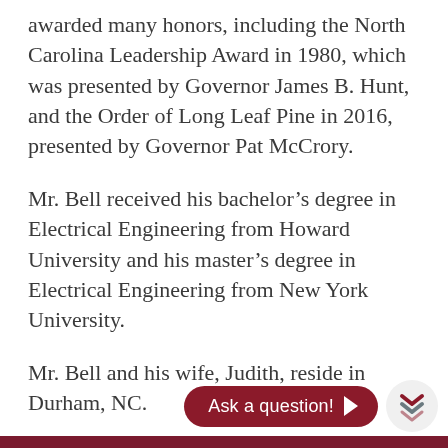awarded many honors, including the North Carolina Leadership Award in 1980, which was presented by Governor James B. Hunt, and the Order of Long Leaf Pine in 2016, presented by Governor Pat McCrory.
Mr. Bell received his bachelor's degree in Electrical Engineering from Howard University and his master's degree in Electrical Engineering from New York University.
Mr. Bell and his wife, Judith, reside in Durham, NC.
[Figure (other): A dark red rounded button labeled 'Ask a question!' with a right-pointing arrow, and a circular badge with two chevron/arrow icons in dark red and gray.]